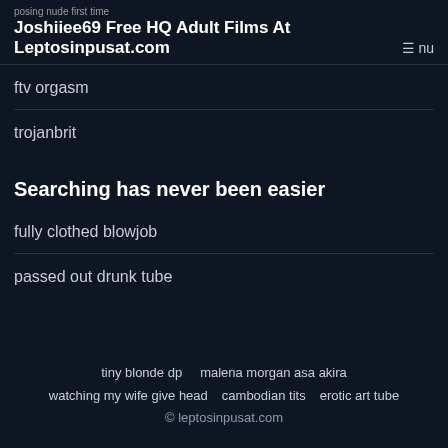posing nude first time | Joshiiee69 Free HQ Adult Films At Leptosinpusat.com Menu
ftv orgasm
trojanbrit
Searching has never been easier
fully clothed blowjob
passed out drunk tube
tiny blonde dp   malena morgan asa akira   watching my wife give head   cambodian tits   erotic art tube   © leptosinpusat.com